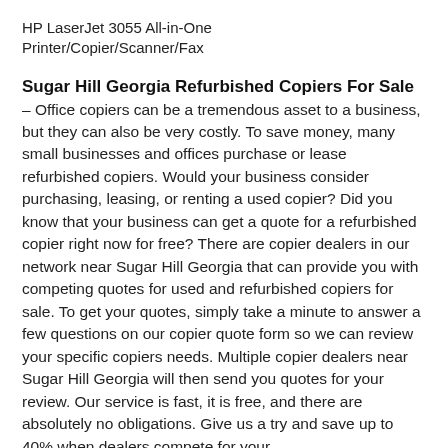HP LaserJet 3055 All-in-One Printer/Copier/Scanner/Fax
Sugar Hill Georgia Refurbished Copiers For Sale
– Office copiers can be a tremendous asset to a business, but they can also be very costly. To save money, many small businesses and offices purchase or lease refurbished copiers. Would your business consider purchasing, leasing, or renting a used copier? Did you know that your business can get a quote for a refurbished copier right now for free? There are copier dealers in our network near Sugar Hill Georgia that can provide you with competing quotes for used and refurbished copiers for sale. To get your quotes, simply take a minute to answer a few questions on our copier quote form so we can review your specific copiers needs. Multiple copier dealers near Sugar Hill Georgia will then send you quotes for your review. Our service is fast, it is free, and there are absolutely no obligations. Give us a try and save up to 40% when dealers compete for your